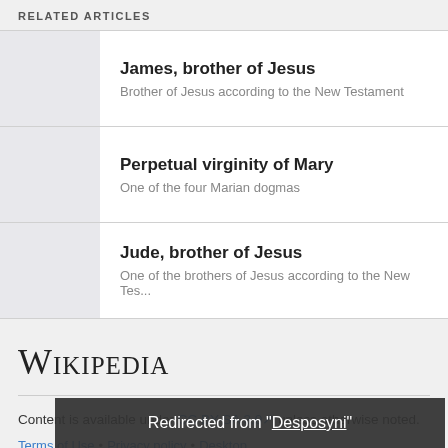RELATED ARTICLES
|  | Article |
| --- | --- |
|  | James, brother of Jesus
Brother of Jesus according to the New Testament |
|  | Perpetual virginity of Mary
One of the four Marian dogmas |
|  | Jude, brother of Jesus
One of the brothers of Jesus according to the New Tes... |
[Figure (logo): Wikipedia logo text]
Content is available under CC BY-SA 3.0 unless otherwise noted.
Terms of Use • Privacy policy • Desktop
Redirected from "Desposyni"